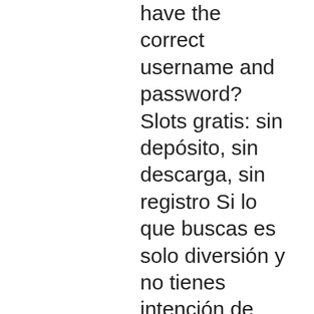have the correct username and password? Slots gratis: sin depósito, sin descarga, sin registro Si lo que buscas es solo diversión y no tienes intención de arriesgar un euro, las tragaperras gratis son para ti, esami del sangue completi testosterone. Sigue&hellip; 25 de los juegos de palabras de casino online chile más punzantes que puedes encontrar. Cet apr&egrave;s-midi du 28 juin a donc rassembl&eacute; &agrave; l h&ocirc;tel ADOR, &agrave; Berne une quarantaine de membres de notre soci&eacute;t&eacute; int&eacute;ress&eacute;s au d&eacute;veloppement de la qualit&eacute; et venant d &eacute;quipes de toutes les r&eacute;gions du pays. Trois th&egrave;mes ont &eacute;t&eacute; pr&eacute;sent&eacute;s et d&eacute;battus: Minimal data set Steffen